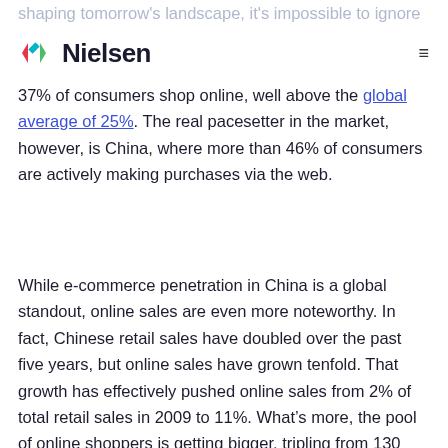Nielsen
shaping tomorrow's landscape, it's impossible to ignore the growing significance of e-commerce, especially in the Asia-Pacific region. There, as many as 37% of consumers shop online, well above the global average of 25%. The real pacesetter in the market, however, is China, where more than 46% of consumers are actively making purchases via the web.
While e-commerce penetration in China is a global standout, online sales are even more noteworthy. In fact, Chinese retail sales have doubled over the past five years, but online sales have grown tenfold. That growth has effectively pushed online sales from 2% of total retail sales in 2009 to 11%. What's more, the pool of online shoppers is getting bigger, tripling from 130 million five years ago to 380 million today.